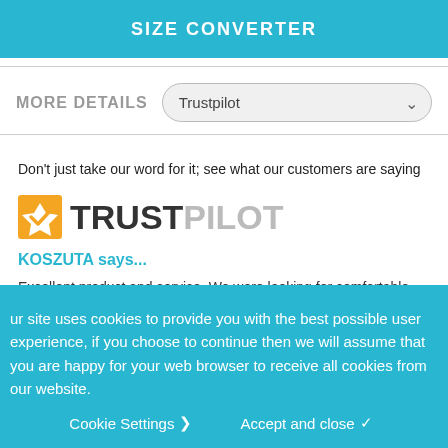SIZE CONVERTER
MORE DETAILS
Don't just take our word for it; see what our customers are saying
[Figure (logo): Trustpilot logo with checkmark icon and TRUSTPILOT text]
KOSZUTA says...
Excellent product and service. We were looking for comfortable dining chairs to fit with our new quirky dining corner in our kitchen. We are really delighted with them.
Our site uses cookies to provide you with the best possible user experience, if you choose to continue then we will assume that you are happy for your web browser to receive all cookies from our website.
Cookie Settings  Accept and close